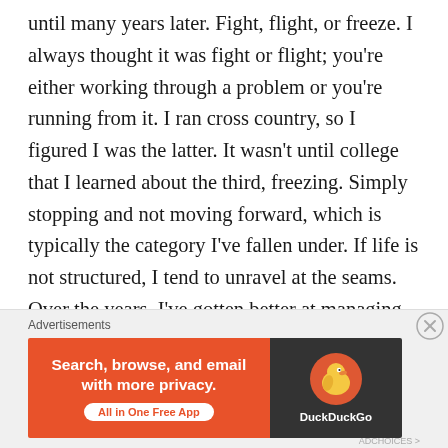until many years later. Fight, flight, or freeze. I always thought it was fight or flight; you're either working through a problem or you're running from it. I ran cross country, so I figured I was the latter. It wasn't until college that I learned about the third, freezing. Simply stopping and not moving forward, which is typically the category I've fallen under. If life is not structured, I tend to unravel at the seams. Over the years, I've gotten better at managing the lack of structure but it took a Pandemic to make me realize I am not the autonomous working machine I thought myself to be. For every mile I've treaded, I have another mile
Advertisements
[Figure (other): DuckDuckGo advertisement banner: orange left panel with text 'Search, browse, and email with more privacy.' and 'All in One Free App' button; dark right panel with DuckDuckGo logo and brand name.]